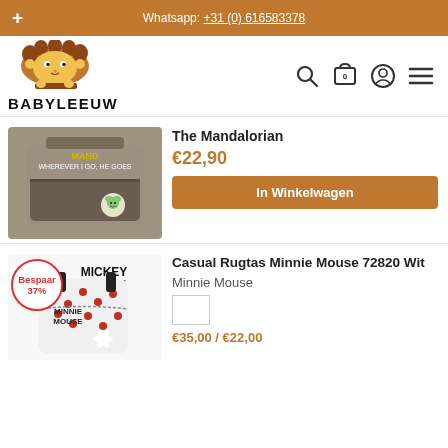+ Whatsapp: +31 (0) 616583378
[Figure (logo): Babyleeuw lion logo with BABYLEEUW text]
The Mandalorian
€22,90
In Winkelwagen
[Figure (photo): Mandalorian messenger bag, grey/brown with 'WHEREVER I GO, HE GOES' text and Baby Yoda patch]
Casual Rugtas Minnie Mouse 72820 Wit
Minnie Mouse
[Figure (photo): Minnie Mouse backpack, white with red strawberry/flower pattern and Mickey Mouse logo. Bespaar 37% badge.]
Bespaar 37%